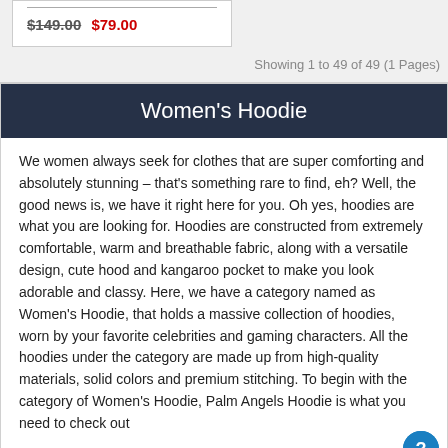$149.00 $79.00
Showing 1 to 49 of 49 (1 Pages)
Women's Hoodie
We women always seek for clothes that are super comforting and absolutely stunning – that's something rare to find, eh? Well, the good news is, we have it right here for you. Oh yes, hoodies are what you are looking for. Hoodies are constructed from extremely comfortable, warm and breathable fabric, along with a versatile design, cute hood and kangaroo pocket to make you look adorable and classy. Here, we have a category named as Women's Hoodie, that holds a massive collection of hoodies, worn by your favorite celebrities and gaming characters. All the hoodies under the category are made up from high-quality materials, solid colors and premium stitching. To begin with the category of Women's Hoodie, Palm Angels Hoodie is what you need to check out